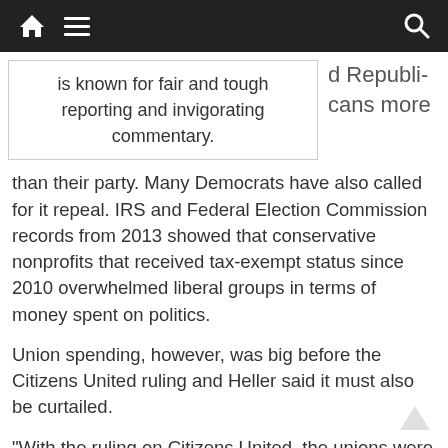Navigation bar with home, menu, and search icons
is known for fair and tough reporting and invigorating commentary.
d Republicans more than their party. Many Democrats have also called for it repeal. IRS and Federal Election Commission records from 2013 showed that conservative nonprofits that received tax-exempt status since 2010 overwhelmed liberal groups in terms of money spent on politics.
Union spending, however, was big before the Citizens United ruling and Heller said it must also be curtailed.
“With the ruling on Citizens United, the unions were